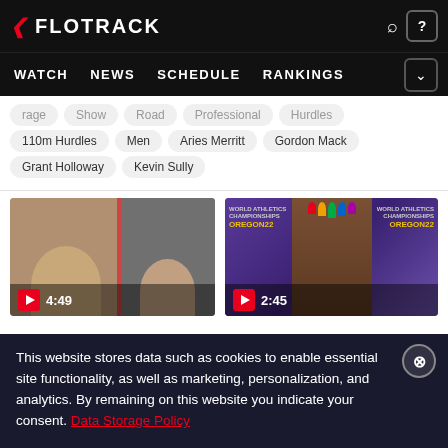FLOTRACK | WATCH | NEWS | SCHEDULE | RANKINGS
Tags: Show, Road, Professional, Hurdles, 110m Hurdles, Men, Aries Merritt, Gordon Mack, Grant Holloway, Kevin Sully
[Figure (screenshot): Video thumbnail showing two podcast hosts with headphones, duration 4:49]
[Figure (screenshot): Video thumbnail showing athlete at World Athletics Championships Oregon22 backdrop, duration 2:45]
This website stores data such as cookies to enable essential site functionality, as well as marketing, personalization, and analytics. By remaining on this website you indicate your consent. Data Storage Policy